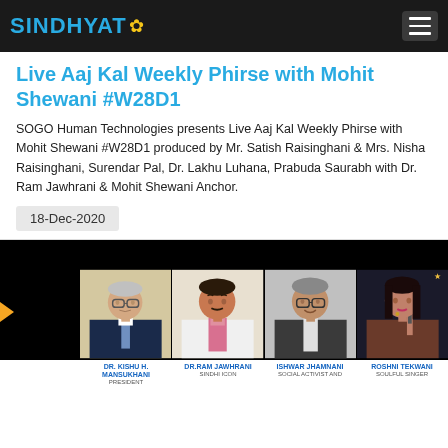SINDHYAT
Live Aaj Kal Weekly Phirse with Mohit Shewani #W28D1
SOGO Human Technologies presents Live Aaj Kal Weekly Phirse with Mohit Shewani #W28D1 produced by Mr. Satish Raisinghani & Mrs. Nisha Raisinghani, Surendar Pal, Dr. Lakhu Luhana, Prabuda Saurabh with Dr. Ram Jawhrani & Mohit Shewani Anchor.
18-Dec-2020
[Figure (photo): Group photo panel showing four people: DR. KISHU H. MANSUKHANI (PRESIDENT), DR. RAM JAWHRANI (SINDHI ICON), ISHWAR JHAMNANI (SOCIAL ACTIVIST AND...), ROSHNI TEKWANI (SOULFUL SINGER)]
DR. KISHU H. MANSUKHANI PRESIDENT | DR. RAM JAWHRANI SINDHI ICON | ISHWAR JHAMNANI SOCIAL ACTIVIST AND | ROSHNI TEKWANI SOULFUL SINGER